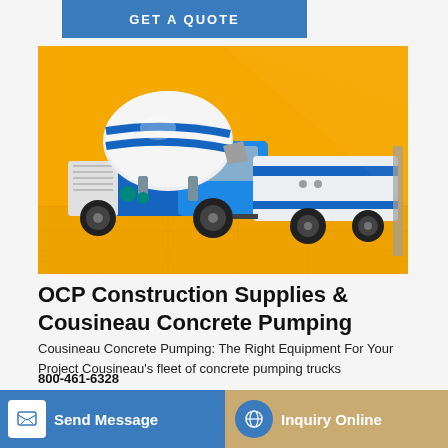[Figure (other): Blue 'GET A QUOTE' button bar]
[Figure (photo): Concrete mixer truck and concrete pump trailer on a yellow/orange background — industrial construction equipment rendered in 3D]
OCP Construction Supplies & Cousineau Concrete Pumping
Cousineau Concrete Pumping: The Right Equipment For Your Project Cousineau's fleet of concrete pumping trucks
800-461-6328